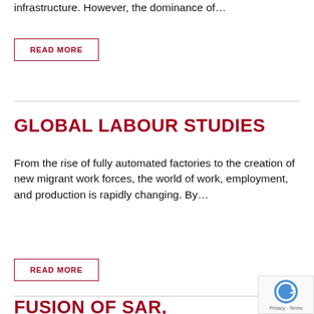infrastructure. However, the dominance of…
READ MORE
GLOBAL LABOUR STUDIES
From the rise of fully automated factories to the creation of new migrant work forces, the world of work, employment, and production is rapidly changing. By…
READ MORE
FUSION OF SAR, OPTICAL IMAGERY AND AIRBORNE LIDAR